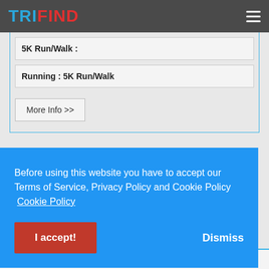TriFind
5K Run/Walk :
Running : 5K Run/Walk
More Info >>
Before using this website you have to accept our Terms of Service, Privacy Policy and Cookie Policy  Cookie Policy
I accept!
Dismiss
Running : Run 4.3 Miles